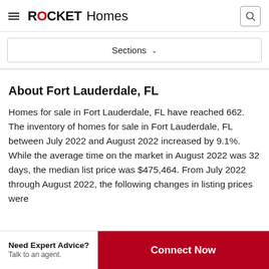ROCKET Homes
Sections
About Fort Lauderdale, FL
Homes for sale in Fort Lauderdale, FL have reached 662. The inventory of homes for sale in Fort Lauderdale, FL between July 2022 and August 2022 increased by 9.1%. While the average time on the market in August 2022 was 32 days, the median list price was $475,464. From July 2022 through August 2022, the following changes in listing prices were
Need Expert Advice? Talk to an agent. Connect Now